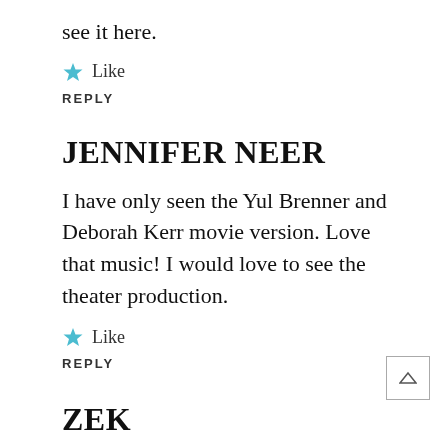see it here.
★ Like
REPLY
JENNIFER NEER
I have only seen the Yul Brenner and Deborah Kerr movie version. Love that music! I would love to see the theater production.
★ Like
REPLY
ZEK